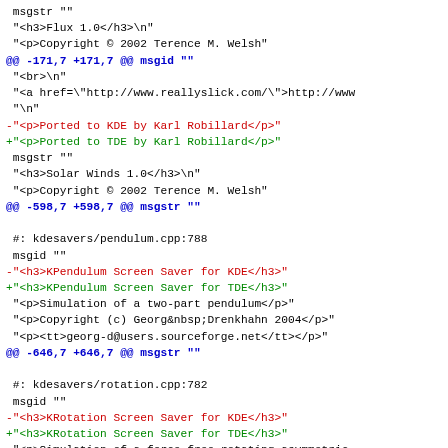diff/patch code showing KDE to TDE migration in kdesavers pendulum and rotation screen savers